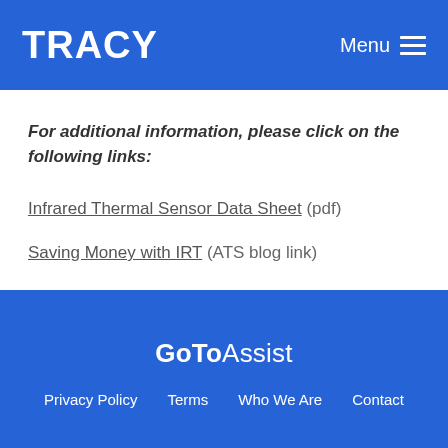TRACY   Menu ≡
For additional information, please click on the following links:
Infrared Thermal Sensor Data Sheet (pdf)
Saving Money with IRT (ATS blog link)
GoToAssist   Privacy Policy   Terms   Who We Are   Contact